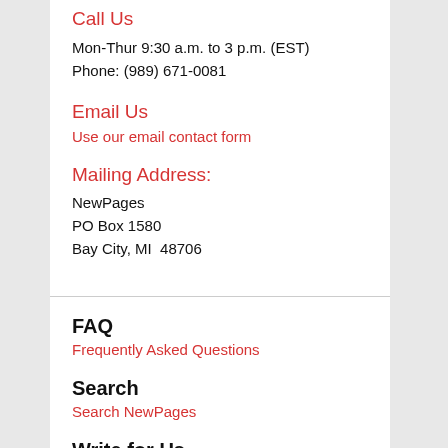Call Us
Mon-Thur 9:30 a.m. to 3 p.m. (EST)
Phone: (989) 671-0081
Email Us
Use our email contact form
Mailing Address:
NewPages
PO Box 1580
Bay City, MI  48706
FAQ
Frequently Asked Questions
Search
Search NewPages
Write for Us
Reviewer Bios